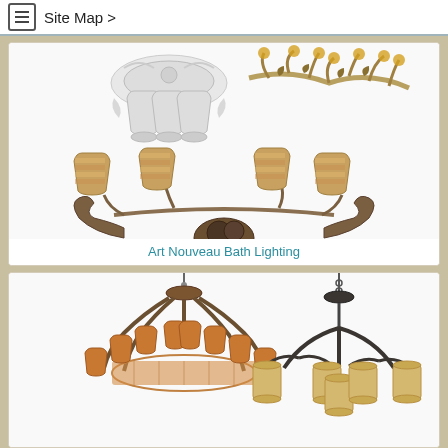Site Map >
[Figure (photo): Art Nouveau bath lighting fixtures including ornate wall sconces with frosted glass shades, decorative floral branch light fixture, and a four-arm wall sconce with mosaic bell shades on scrolled iron base]
Art Nouveau Bath Lighting
[Figure (photo): Two chandeliers: a rustic multi-arm chandelier with amber mica shades and wooden/iron frame, and a dark iron chandelier with cylindrical cream glass shades]